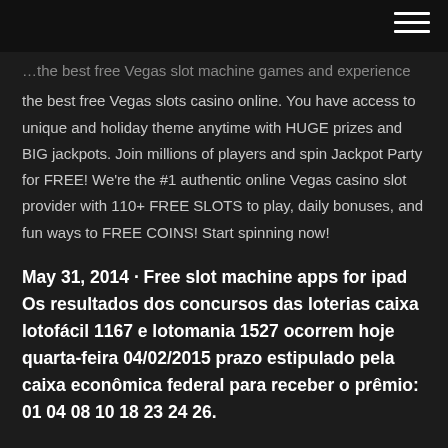[hamburger menu icon]
…the best free Vegas slot machine games and experience the best free Vegas slots casino online. You have access to unique and holiday theme anytime with HUGE prizes and BIG jackpots. Join millions of players and spin Jackpot Party for FREE! We're the #1 authentic online Vegas casino slot provider with 110+ FREE SLOTS to play, daily bonuses, and fun ways to FREE COINS! Start spinning now!
May 31, 2014 · Free slot machine apps for ipad Os resultados dos concursos das loterias caixa lotofácil 1167 e lotomania 1527 ocorrem hoje quarta-feira 04/02/2015 prazo estipulado pela caixa econômica federal para receber o prêmio: 01 04 08 10 18 23 24 26.